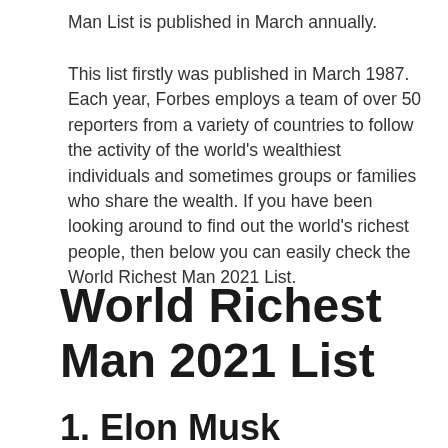Man List is published in March annually.
This list firstly was published in March 1987. Each year, Forbes employs a team of over 50 reporters from a variety of countries to follow the activity of the world's wealthiest individuals and sometimes groups or families who share the wealth. If you have been looking around to find out the world's richest people, then below you can easily check the World Richest Man 2021 List.
World Richest Man 2021 List
1. Elon Musk